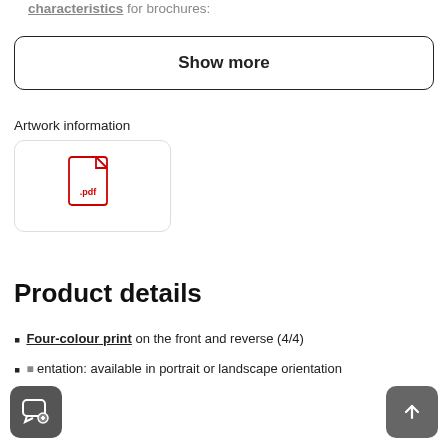characteristics for brochures:
Show more
Artwork information
[Figure (illustration): PDF file icon — a red document icon with a folded corner and '.pdf' label]
Product details
Four-colour print on the front and reverse (4/4)
Orientation: available in portrait or landscape orientation